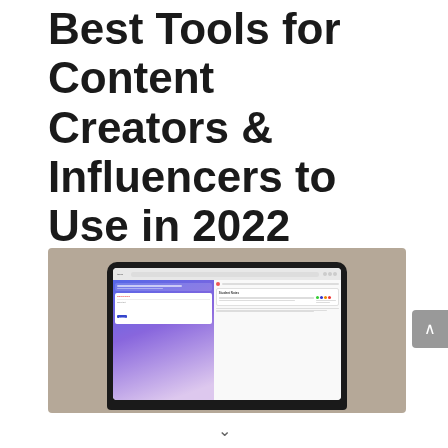Best Tools for Content Creators & Influencers to Use in 2022
[Figure (screenshot): A laptop computer displaying a website (appears to be Tapan or similar creator tool platform) on a beige/taupe background. The screen shows a dashboard interface with a blue/purple gradient sidebar and white content area with cards and text.]